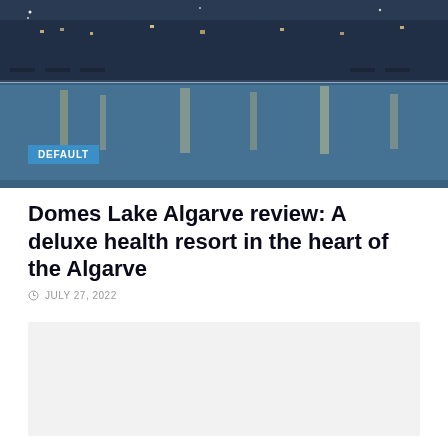[Figure (photo): Aerial or wide-angle view of a resort pool area at dusk/night with lounge chairs, water reflections of lights, and hotel buildings in the background]
DEFAULT
Domes Lake Algarve review: A deluxe health resort in the heart of the Algarve
JULY 27, 2022
[Figure (other): Placeholder content area (light gray box)]